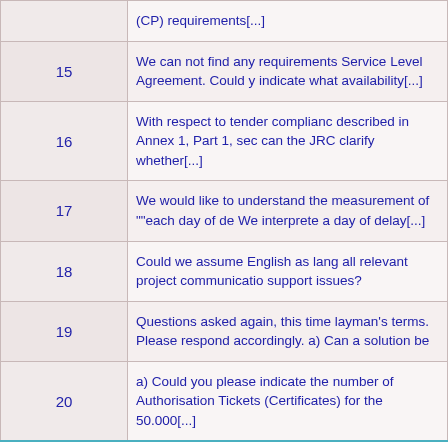| # | Question |
| --- | --- |
|  | (CP) requirements[...] |
| 15 | We can not find any requirements Service Level Agreement. Could y indicate what availability[...] |
| 16 | With respect to tender compliance described in Annex 1, Part 1, sec can the JRC clarify whether[...] |
| 17 | We would like to understand the measurement of ""each day of de We interprete a day of delay[...] |
| 18 | Could we assume English as lang all relevant project communication support issues? |
| 19 | Questions asked again, this time layman's terms. Please respond accordingly. a) Can a solution be |
| 20 | a) Could you please indicate the number of Authorisation Tickets (Certificates) for the 50.000[...] |